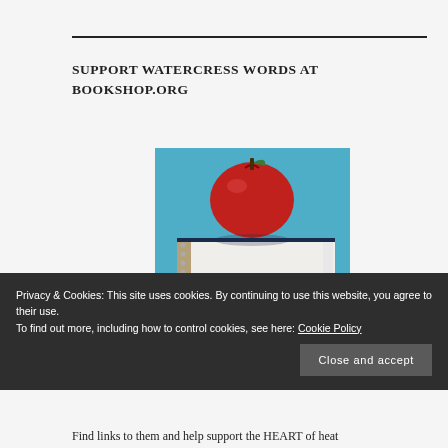SUPPORT WATERCRESS WORDS AT BOOKSHOP.ORG
[Figure (photo): Stack of two hardcover books with a red apple on top, set against a blue background]
Privacy & Cookies: This site uses cookies. By continuing to use this website, you agree to their use.
To find out more, including how to control cookies, see here: Cookie Policy
Close and accept
Find links to them and help support the HEART of heat